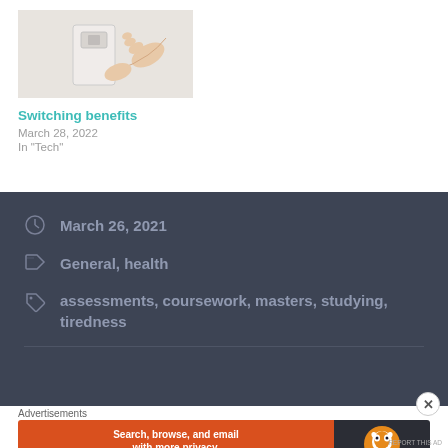[Figure (photo): A hand pressing a light switch on a white wall]
Switching benefits
March 28, 2022
In "Tech"
March 26, 2021
General, health
assessments, coursework, masters, studying, tiredness
Advertisements
[Figure (screenshot): DuckDuckGo advertisement banner: Search, browse, and email with more privacy. All in One Free App]